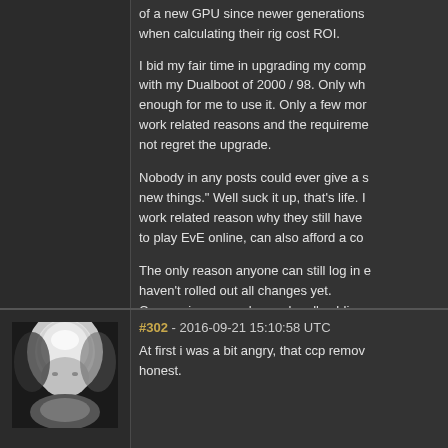of a new GPU since newer generations when calculating their rig cost ROI.
I bid my fair time in upgrading my comp with my Dualboot of 2000 / 98. Only wh enough for me to use it. Only a few mor work related reasons and the requireme not regret the upgrade.
Nobody in any posts could ever give a s new things." Well suck it up, that's life. work related reason why they still have to play EvE online, can also afford a co
The only reason anyone can still log in haven't rolled out all changes yet.
Companies are no longer legally oblige
I'm sure CCP would be happy to contin excess money to provide the additional GPU that is already a few years old, I d
[Figure (photo): Profile photo of a bald man, black and white, dramatic lighting from above]
#302 - 2016-09-21 15:10:58 UTC
At first i was a bit angry, that ccp remov honest.